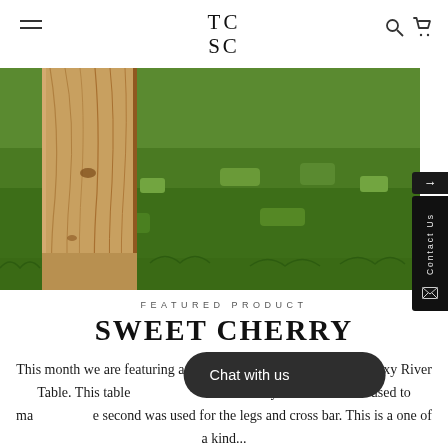TC SC
[Figure (photo): Close-up photo of a wooden cherry slab table leg resting on green grass, showing wood grain detail]
FEATURED PRODUCT
SWEET CHERRY
This month we are featuring a magnificent Cherry and Black Epoxy River Table. This table features two Cherry Slabs. One was used to make the top. The second was used for the legs and cross bar. This is a one of a kind...